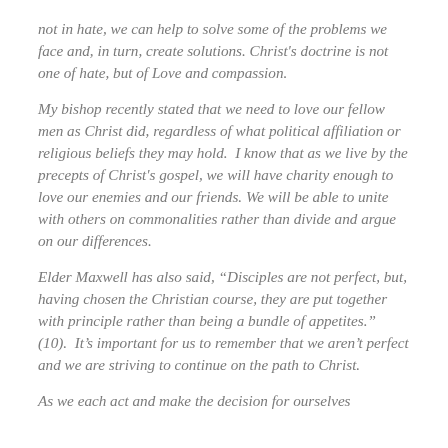not in hate, we can help to solve some of the problems we face and, in turn, create solutions. Christ's doctrine is not one of hate, but of Love and compassion.
My bishop recently stated that we need to love our fellow men as Christ did, regardless of what political affiliation or religious beliefs they may hold.  I know that as we live by the precepts of Christ's gospel, we will have charity enough to love our enemies and our friends. We will be able to unite with others on commonalities rather than divide and argue on our differences.
Elder Maxwell has also said, “Disciples are not perfect, but, having chosen the Christian course, they are put together with principle rather than being a bundle of appetites.” (10).  It’s important for us to remember that we aren’t perfect and we are striving to continue on the path to Christ.
As we each act and make the decision for ourselves